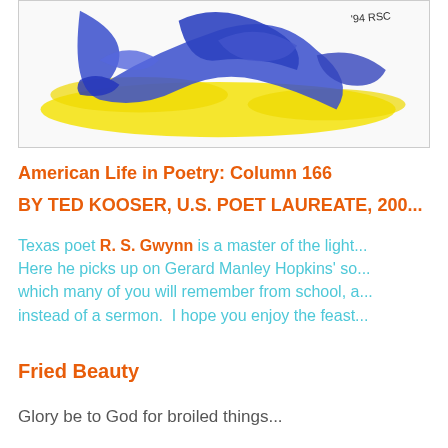[Figure (illustration): Abstract watercolor illustration with blue and yellow brushstrokes, with a handwritten signature '94 RSC' in the upper right corner.]
American Life in Poetry: Column 166
BY TED KOOSER, U.S. POET LAUREATE, 200...
Texas poet R. S. Gwynn is a master of the light... Here he picks up on Gerard Manley Hopkins' so... which many of you will remember from school, a... instead of a sermon. I hope you enjoy the feast...
Fried Beauty
Glory be to God for broiled things...